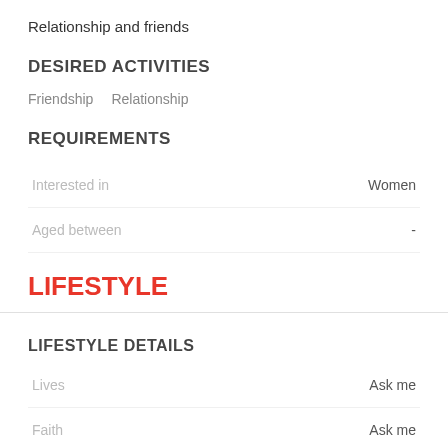Relationship and friends
DESIRED ACTIVITIES
Friendship   Relationship
REQUIREMENTS
|  |  |
| --- | --- |
| Interested in | Women |
| Aged between | - |
LIFESTYLE
LIFESTYLE DETAILS
|  |  |
| --- | --- |
| Lives | Ask me |
| Faith | Ask me |